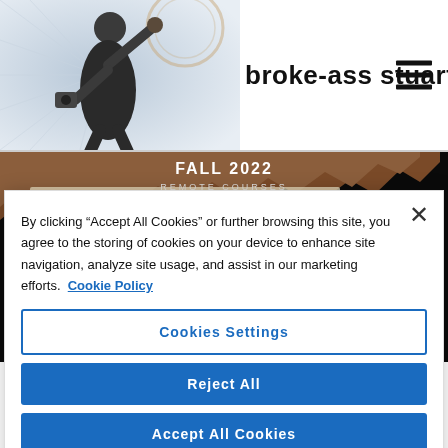broke-ass stuart
[Figure (screenshot): Article header image showing a dark background with torn brown paper texture, text reading FALL 2022 REMOTE COURSES, Semester begins August 17!, and Tues & Thurs]
By clicking “Accept All Cookies” or further browsing this site, you agree to the storing of cookies on your device to enhance site navigation, analyze site usage, and assist in our marketing efforts. Cookie Policy
Cookies Settings
Reject All
Accept All Cookies